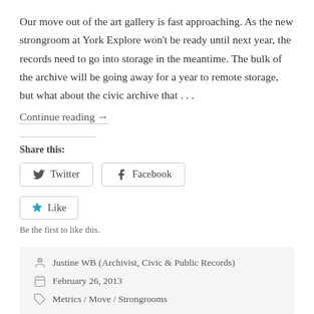Our move out of the art gallery is fast approaching. As the new strongroom at York Explore won't be ready until next year, the records need to go into storage in the meantime. The bulk of the archive will be going away for a year to remote storage, but what about the civic archive that . . . Continue reading →
Share this:
Twitter  Facebook
Like  Be the first to like this.
Justine WB (Archivist, Civic & Public Records)  February 26, 2013  Metrics / Move / Strongrooms